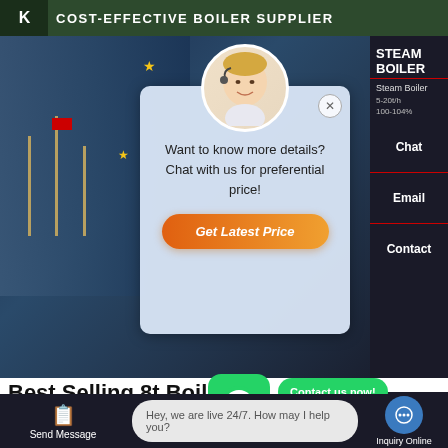COST-EFFECTIVE BOILER SUPPLIER
[Figure (screenshot): Website screenshot showing a boiler supplier page with a chat popup overlay featuring a customer service agent, stars decoration, text 'Want to know more details? Chat with us for preferential price!' and a 'Get Latest Price' button. Right sidebar shows Steam Boiler specs (5-20t/h, 100-104%), Chat, Email, Contact options. Bottom shows 'Best Selling 8t Boile...' heading with WhatsApp contact buttons and a live chat toolbar.]
Want to know more details? Chat with us for preferential price!
Get Latest Price
STEAM BOILER
Steam Boiler
5-20t/h
100-104%
Chat
Email
Contact
Best Selling 8t Boile...
Contact us now!
Contact us now!
Send Message
Hey, we are live 24/7. How may I help you?
Inquiry Online